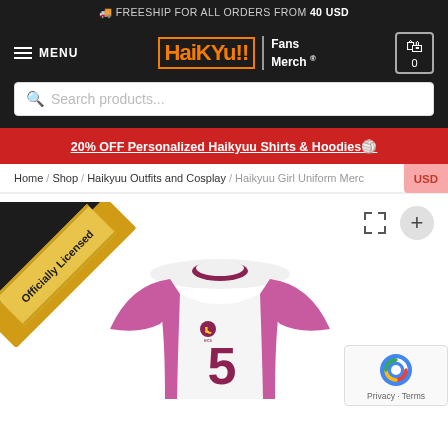🚚 FREESHIP FOR ALL ORDERS FROM 40 USD
[Figure (logo): Haikyuu!! Fans Merch logo with orange stylized text and menu/cart navigation]
Search products...
20% OFF Personalized Haikyuu Shirts & Hoodies🏐
Home / Shop / Haikyuu Outfits and Cosplay / Haikyuu Girl Uniform Merch
[Figure (photo): Haikyuu volleyball jersey number 5, white with pink/purple raglan sleeves, officially licensed badge in corner]